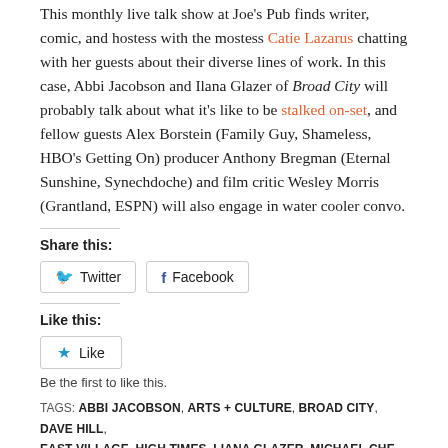This monthly live talk show at Joe's Pub finds writer, comic, and hostess with the mostess Catie Lazarus chatting with her guests about their diverse lines of work. In this case, Abbi Jacobson and Ilana Glazer of Broad City will probably talk about what it's like to be stalked on-set, and fellow guests Alex Borstein (Family Guy, Shameless, HBO's Getting On) producer Anthony Bregman (Eternal Sunshine, Synechdoche) and film critic Wesley Morris (Grantland, ESPN) will also engage in water cooler convo.
Share this:
Twitter  Facebook
Like this:
Like
Be the first to like this.
TAGS: ABBI JACOBSON, ARTS + CULTURE, BROAD CITY, DAVE HILL, EAST VILLAGE, HIGH TIMES, LIANA GLAZER, MICHAEL CHE, PANEL